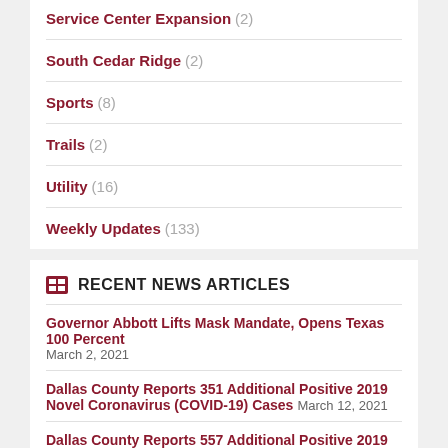Service Center Expansion (2)
South Cedar Ridge (2)
Sports (8)
Trails (2)
Utility (16)
Weekly Updates (133)
RECENT NEWS ARTICLES
Governor Abbott Lifts Mask Mandate, Opens Texas 100 Percent — March 2, 2021
Dallas County Reports 351 Additional Positive 2019 Novel Coronavirus (COVID-19) Cases — March 12, 2021
Dallas County Reports 557 Additional Positive 2019 Novel Coronavirus (COVID-19) Cases — March 11, 2021
Dallas County Reports 365 Additional Positive 2019 Novel...